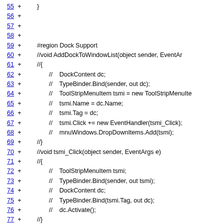Code diff view showing lines 55-78 of a C# file with Dock Support region
55 +     }
56 +
57 +
58 +
59 +     #region Dock Support
60 +     //void AddDockToWindowList(object sender, EventAr
61 +     //{
62 +     //    DockContent dc;
63 +     //    TypeBinder.Bind(sender, out dc);
64 +     //    ToolStripMenuItem tsmi = new ToolStripMenuIte
65 +     //    tsmi.Name = dc.Name;
66 +     //    tsmi.Tag = dc;
67 +     //    tsmi.Click += new EventHandler(tsmi_Click);
68 +     //    mnuWindows.DropDownItems.Add(tsmi);
69 +     //}
70 +     //void tsmi_Click(object sender, EventArgs e)
71 +     //{
72 +     //    ToolStripMenuItem tsmi;
73 +     //    TypeBinder.Bind(sender, out tsmi);
74 +     //    DockContent dc;
75 +     //    TypeBinder.Bind(tsmi.Tag, out dc);
76 +     //    dc.Activate();
77 +     //}
78 +     //void RemoveDockFromWindowList(object sender, FormClosedEventArgs e)